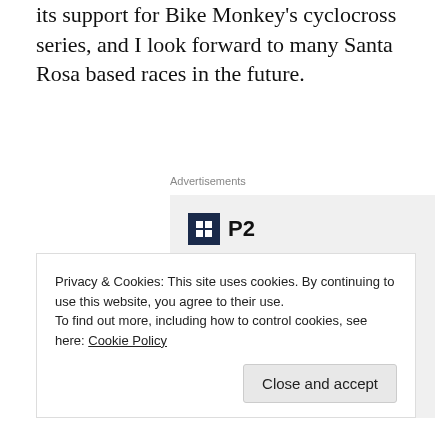its support for Bike Monkey's cyclocross series, and I look forward to many Santa Rosa based races in the future.
Advertisements
[Figure (infographic): P2 advertisement box with logo, headline 'Getting your team on the same page is easy. And free.' and circular avatar photos at bottom.]
Privacy & Cookies: This site uses cookies. By continuing to use this website, you agree to their use.
To find out more, including how to control cookies, see here: Cookie Policy
Close and accept